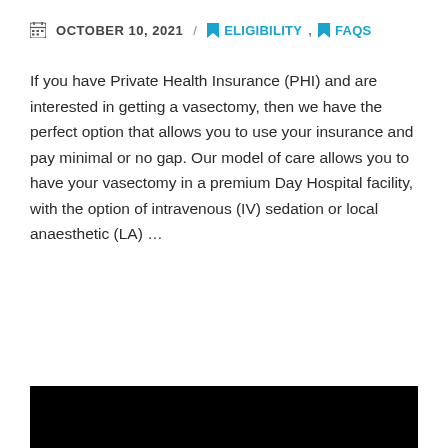OCTOBER 10, 2021 / ELIGIBILITY, FAQS
If you have Private Health Insurance (PHI) and are interested in getting a vasectomy, then we have the perfect option that allows you to use your insurance and pay minimal or no gap. Our model of care allows you to have your vasectomy in a premium Day Hospital facility, with the option of intravenous (IV) sedation or local anaesthetic (LA) …
Read More
[Figure (photo): Black rectangle representing an embedded image or video thumbnail]